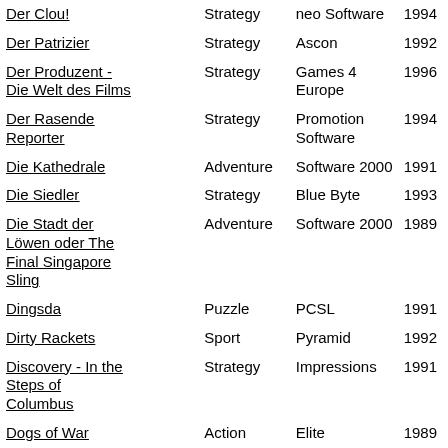| Title | Genre | Publisher | Year |
| --- | --- | --- | --- |
| Der Clou! | Strategy | neo Software | 1994 |
| Der Patrizier | Strategy | Ascon | 1992 |
| Der Produzent - Die Welt des Films | Strategy | Games 4 Europe | 1996 |
| Der Rasende Reporter | Strategy | Promotion Software | 1994 |
| Die Kathedrale | Adventure | Software 2000 | 1991 |
| Die Siedler | Strategy | Blue Byte | 1993 |
| Die Stadt der Löwen oder The Final Singapore Sling | Adventure | Software 2000 | 1989 |
| Dingsda | Puzzle | PCSL | 1991 |
| Dirty Rackets | Sport | Pyramid | 1992 |
| Discovery - In the Steps of Columbus | Strategy | Impressions | 1991 |
| Dogs of War | Action | Elite | 1989 |